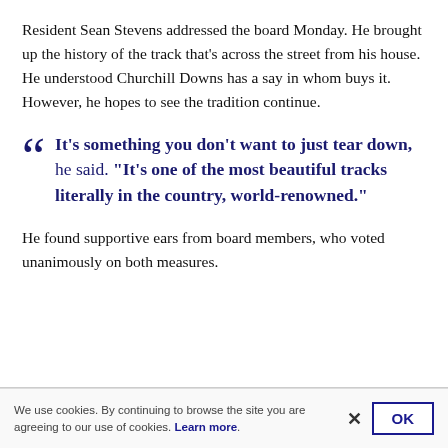Resident Sean Stevens addressed the board Monday. He brought up the history of the track that's across the street from his house. He understood Churchill Downs has a say in whom buys it. However, he hopes to see the tradition continue.
“It’s something you don’t want to just tear down,” he said. “It’s one of the most beautiful tracks literally in the country, world-renowned.”
He found supportive ears from board members, who voted unanimously on both measures.
We use cookies. By continuing to browse the site you are agreeing to our use of cookies. Learn more.